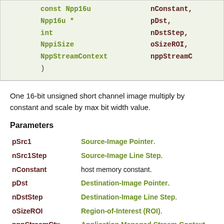[Figure (other): Code signature box showing function parameters: const Npp16u nConstant, Npp16u* pDst, int nDstStep, NppiSize oSizeROI, NppStreamContext nppStreamC, closing parenthesis]
One 16-bit unsigned short channel image multiply by constant and scale by max bit width value.
Parameters
pSrc1 - Source-Image Pointer.
nSrc1Step - Source-Image Line Step.
nConstant - host memory constant.
pDst - Destination-Image Pointer.
nDstStep - Destination-Image Line Step.
oSizeROI - Region-of-Interest (ROI).
nppStreamCtx - Application Managed Stream Context.